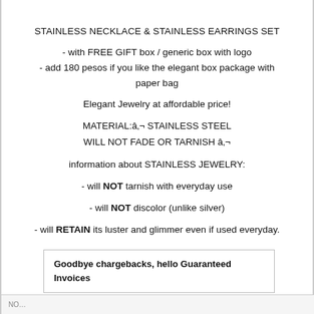STAINLESS NECKLACE & STAINLESS EARRINGS SET
- with FREE GIFT box / generic box with logo
- add 180 pesos if you like the elegant box package with paper bag
Elegant Jewelry at affordable price!
MATERIAL:â„¢ STAINLESS STEEL
WILL NOT FADE OR TARNISH â„¢
information about STAINLESS JEWELRY:
- will NOT tarnish with everyday use
- will NOT discolor (unlike silver)
- will RETAIN its luster and glimmer even if used everyday.
Goodbye chargebacks, hello Guaranteed Invoices